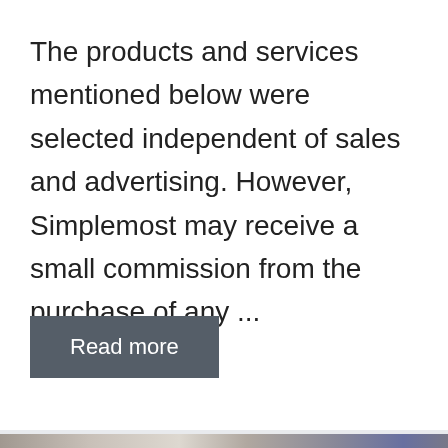The products and services mentioned below were selected independent of sales and advertising. However, Simplemost may receive a small commission from the purchase of any ...
Read more
[Figure (photo): A partial photo showing what appears to be a person holding or moving furniture or household items, with shelving visible in the background.]